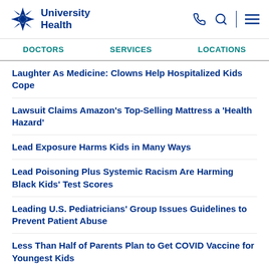University Health
Laughter As Medicine: Clowns Help Hospitalized Kids Cope
Lawsuit Claims Amazon's Top-Selling Mattress a 'Health Hazard'
Lead Exposure Harms Kids in Many Ways
Lead Poisoning Plus Systemic Racism Are Harming Black Kids' Test Scores
Leading U.S. Pediatricians' Group Issues Guidelines to Prevent Patient Abuse
Less Than Half of Parents Plan to Get COVID Vaccine for Youngest Kids
'Live' Type of Flu Shot Is Safe for Kids With Asthma: Stu...